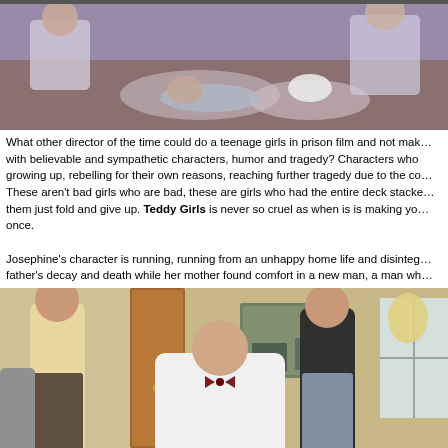[Figure (photo): Film still showing people on the ground outdoors, appears to be a scene from Teddy Girls film]
What other director of the time could do a teenage girls in prison film and not make it with believable and sympathetic characters, humor and tragedy? Characters who are growing up, rebelling for their own reasons, reaching further tragedy due to the co... These aren't bad girls who are bad, these are girls who had the entire deck stacked them just fold and give up. Teddy Girls is never so cruel as when is is making you once.

Josephine's character is running, running from an unhappy home life and disinte... father's decay and death while her mother found comfort in a new man, a man wh...
[Figure (photo): Film still showing characters in a living room scene, a man in white shirt with bow tie in the center, two women standing, appears to be from Teddy Girls film]